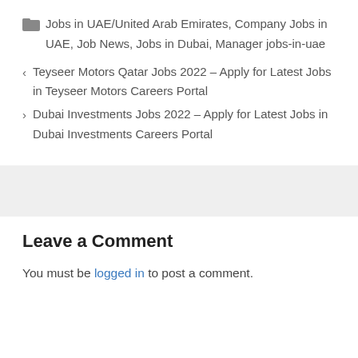Jobs in UAE/United Arab Emirates, Company Jobs in UAE, Job News, Jobs in Dubai, Manager jobs-in-uae
< Teyseer Motors Qatar Jobs 2022 – Apply for Latest Jobs in Teyseer Motors Careers Portal
> Dubai Investments Jobs 2022 – Apply for Latest Jobs in Dubai Investments Careers Portal
Leave a Comment
You must be logged in to post a comment.